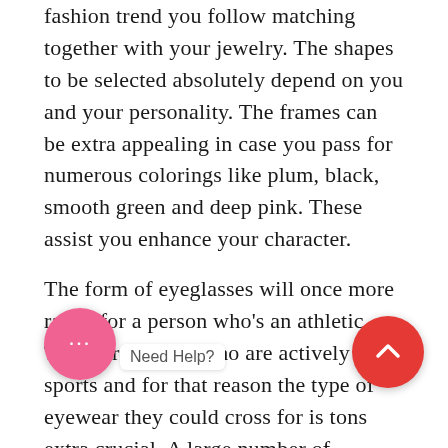fashion trend you follow matching together with your jewelry. The shapes to be selected absolutely depend on you and your personality. The frames can be extra appealing in case you pass for numerous colorings like plum, black, smooth green and deep pink. These assist you enhance your character.
The form of eyeglasses will once more range for a person who’s an athletic. There are people who are actively in sports and for that reason the type of eyewear they could cross for is tons extra crucial. A large number of manufacturers of eye glasses are available within the marketplace that is in particular designed for human beings in sports. These glasses offer utmost consolation and are technically more desirable with readability of vision. The sportspeople want eyewear that have specific features all through the daylight hours and are very easy to wear at ti... ities. These eyeglasses are ave...e in numerous styles together with wraparounds, shields and different normal types of